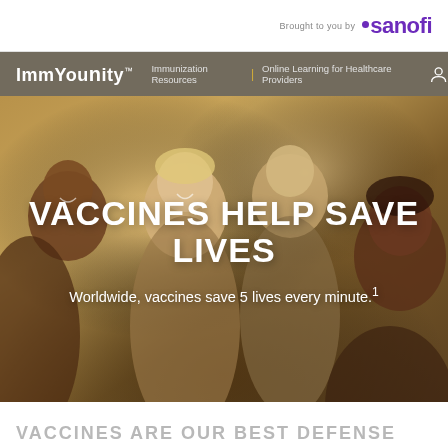Brought to you by sanofi
ImmYounity™
Immunization Resources | Online Learning for Healthcare Providers
[Figure (photo): Group of four smiling children of diverse backgrounds hugging each other outdoors, warm sunlit background]
VACCINES HELP SAVE LIVES
Worldwide, vaccines save 5 lives every minute.¹
VACCINES ARE OUR BEST DEFENSE